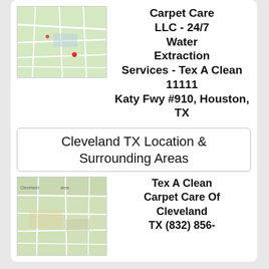[Figure (map): Map thumbnail showing Houston TX area road map]
Carpet Care LLC - 24/7 Water Extraction Services - Tex A Clean 11111 Katy Fwy #910, Houston, TX 77043 (281) 377-5771 Or (888) 846-8420
Cleveland TX Location & Surrounding Areas
[Figure (map): Map thumbnail showing Cleveland TX area road map]
Tex A Clean Carpet Care Of Cleveland TX (832) 856-